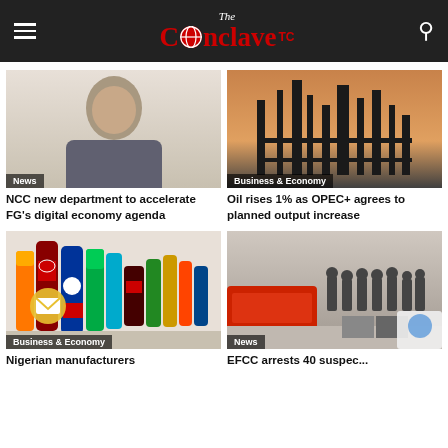The Conclave TC
[Figure (photo): Portrait of a man in suit wearing glasses, smiling]
News
NCC new department to accelerate FG's digital economy agenda
[Figure (photo): Industrial oil refinery silhouette at dusk]
Business & Economy
Oil rises 1% as OPEC+ agrees to planned output increase
[Figure (photo): Assorted soft drink bottles including Coca-Cola, Pepsi, Sprite]
Business & Economy
Nigerian manufacturers
[Figure (photo): Group of people standing in a line facing away, outdoor scene]
News
EFCC arrests 40 suspec...